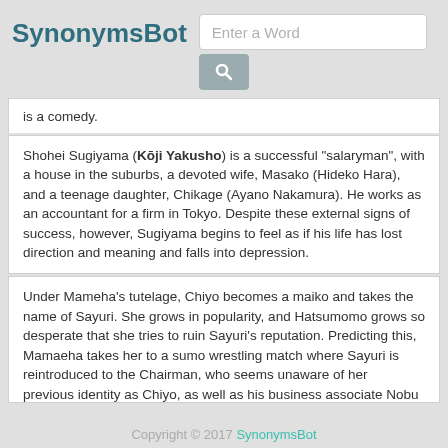SynonymsBot
is a comedy.
Shohei Sugiyama (Kōji Yakusho) is a successful "salaryman", with a house in the suburbs, a devoted wife, Masako (Hideko Hara), and a teenage daughter, Chikage (Ayano Nakamura). He works as an accountant for a firm in Tokyo. Despite these external signs of success, however, Sugiyama begins to feel as if his life has lost direction and meaning and falls into depression.
Under Mameha's tutelage, Chiyo becomes a maiko and takes the name of Sayuri. She grows in popularity, and Hatsumomo grows so desperate that she tries to ruin Sayuri's reputation. Predicting this, Mamaeha takes her to a sumo wrestling match where Sayuri is reintroduced to the Chairman, who seems unaware of her previous identity as Chiyo, as well as his business associate Nobu
Copyright © 2017 SynonymsBot